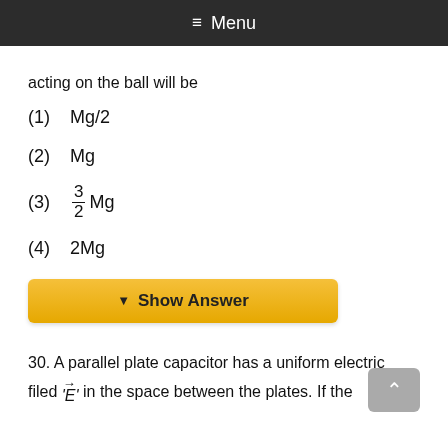≡ Menu
acting on the ball will be
(1)  Mg/2
(2)  Mg
(3)  3/2 Mg
(4)  2Mg
▼ Show Answer
30. A parallel plate capacitor has a uniform electric field 'E' in the space between the plates. If the